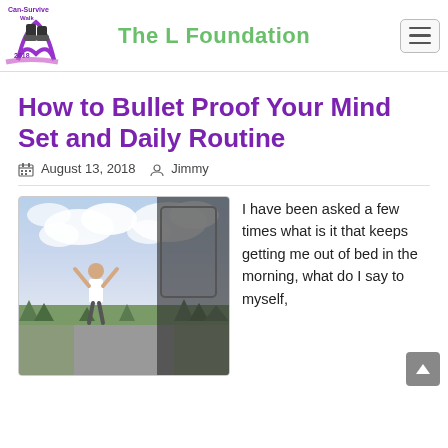The L Foundation — Can-Survive Walk 2018
How to Bullet Proof Your Mind Set and Daily Routine
August 13, 2018  Jimmy
[Figure (photo): A person standing outdoors with arms raised on a rural road, with trees and cloudy sky in the background, and a car window/mirror reflection visible on the right.]
I have been asked a few times what is it that keeps getting me out of bed in the morning, what do I say to myself,